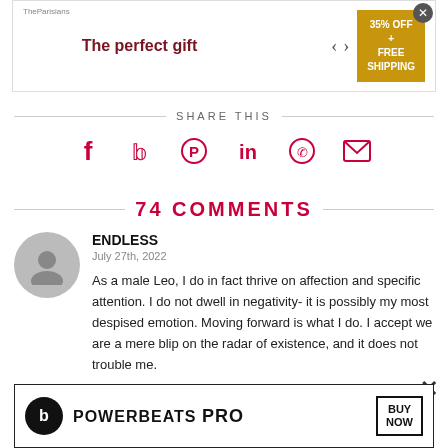[Figure (other): Advertisement banner: 'The perfect gift' with food imagery, 35% OFF + FREE SHIPPING gold box, and close button]
SHARE THIS
[Figure (infographic): Social sharing icons: Facebook, Twitter, Pinterest, LinkedIn, WhatsApp, Email — all in crimson/red color]
74 COMMENTS
[Figure (photo): Gray circular avatar / user profile placeholder icon]
ENDLESS
July 27th, 2022
As a male Leo, I do in fact thrive on affection and specific attention. I do not dwell in negativity- it is possibly my most despised emotion. Moving forward is what I do. I accept we are a mere blip on the radar of existence, and it does not trouble me.
[Figure (other): Advertisement banner: Powerbeats Pro with Beats logo and BUY NOW button]